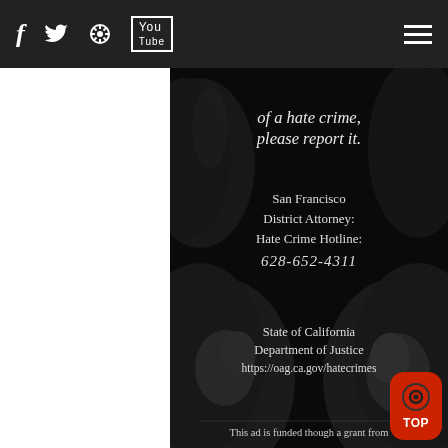f  Twitter  RSS  YouTube  ≡
[Figure (photo): Anti-hate crime public service announcement poster with dark background showing silhouetted faces. Text reads: 'of a hate crime, please report it.' with San Francisco District Attorney Hate Crime Hotline 628-652-4311 and State of California Department of Justice https://oag.ca.gov/hatecrimes. Bottom reads: 'This ad is funded though a grant from']
of a hate crime, please report it.
San Francisco District Attorney: Hate Crime Hotline: 628-652-4311
State of California Department of Justice https://oag.ca.gov/hatecrimes
This ad is funded though a grant from